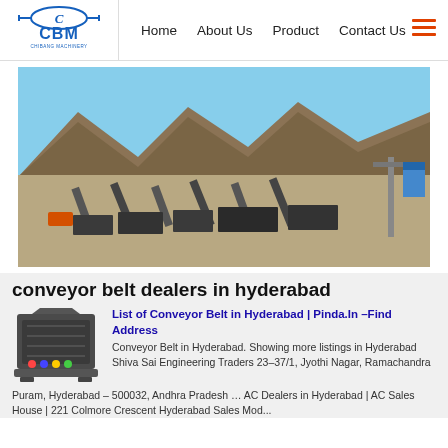Home  About Us  Product  Contact Us
[Figure (photo): Aerial view of a large open-pit mining and conveyor belt facility with mountains in the background and blue sky]
conveyor belt dealers in hyderabad
[Figure (photo): Industrial machine thumbnail - dark grey crushing/conveyor machinery with colored indicators]
List of Conveyor Belt in Hyderabad | Pinda.In –Find Address
Conveyor Belt in Hyderabad. Showing more listings in Hyderabad Shiva Sai Engineering Traders 23-37/1, Jyothi Nagar, Ramachandra Puram, Hyderabad – 500032, Andhra Pradesh … AC Dealers in Hyderabad | AC Sales House | 221 Colmore Crescent Hyderabad Sales Mod...